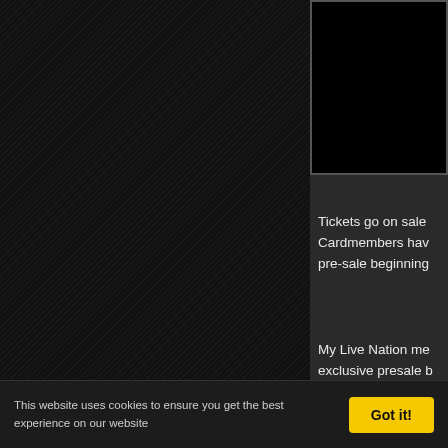[Figure (screenshot): Left panel with dark diagonal striped/hatched background, dark brownish-black color with repeating diagonal lines pattern]
[Figure (photo): Concert/event promotional image showing text 'TELLMO...' (truncated) and 'LIVE 2...' on a black background, partially visible in the top-right area]
Tickets go on sale Cardmembers hav pre-sale beginning
My Live Nation me exclusive presale b www.livenation.co...
This website uses cookies to ensure you get the best experience on our website
Got it!